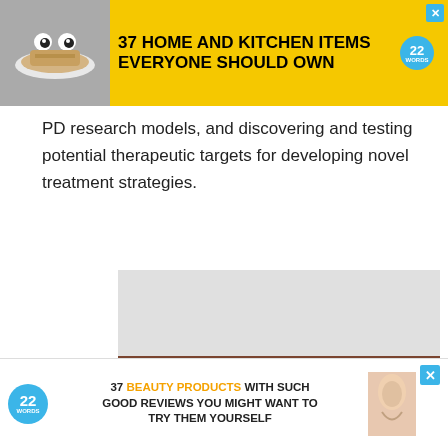[Figure (screenshot): Top banner advertisement: '37 HOME AND KITCHEN ITEMS EVERYONE SHOULD OWN' with yellow background and 22Words badge, with close X button]
associ... mecha... roving PD research models, and discovering and testing potential therapeutic targets for developing novel treatment strategies.
[Figure (screenshot): Large advertisement block showing purple headphones with text '37 GENIUS AMAZON PRODUCTS THAT CAN BE USED BY ANYONE' and a CLOSE button]
[Figure (screenshot): Bottom banner advertisement: '37 BEAUTY PRODUCTS WITH SUCH GOOD REVIEWS YOU MIGHT WANT TO TRY THEM YOURSELF' with 22Words badge]